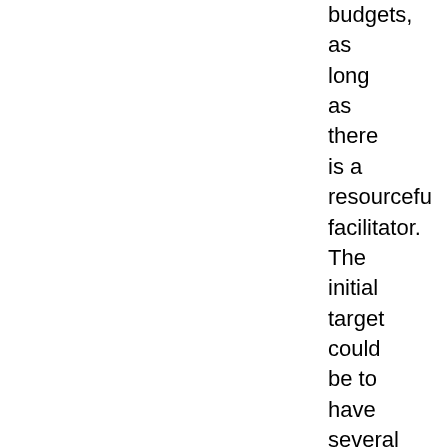budgets, as long as there is a resourceful facilitator. The initial target could be to have several such centres at district/block level and ultimately